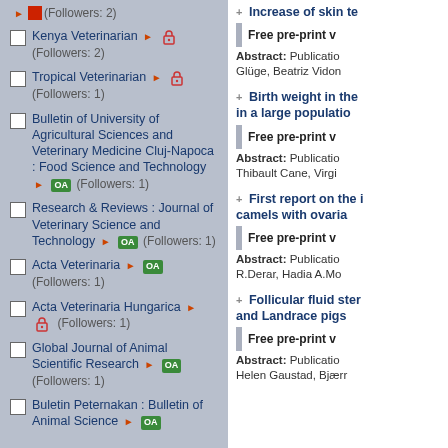(Followers: 2) [partial item with red square icon]
Kenya Veterinarian [lock icon] (Followers: 2)
Tropical Veterinarian [lock icon] (Followers: 1)
Bulletin of University of Agricultural Sciences and Veterinary Medicine Cluj-Napoca : Food Science and Technology [OA] (Followers: 1)
Research & Reviews : Journal of Veterinary Science and Technology [OA] (Followers: 1)
Acta Veterinaria [OA] (Followers: 1)
Acta Veterinaria Hungarica [lock icon] (Followers: 1)
Global Journal of Animal Scientific Research [OA] (Followers: 1)
Buletin Peternakan : Bulletin of Animal Science [OA]
+ Increase of skin te
Free pre-print v
Abstract: Publication Glüge, Beatriz Vidon
+ Birth weight in the in a large populatio
Free pre-print v
Abstract: Publication Thibault Cane, Virgi
+ First report on the i camels with ovaria
Free pre-print v
Abstract: Publication R.Derar, Hadia A.Mo
+ Follicular fluid ster and Landrace pigs
Free pre-print v
Abstract: Publication Helen Gaustad, Bjærr